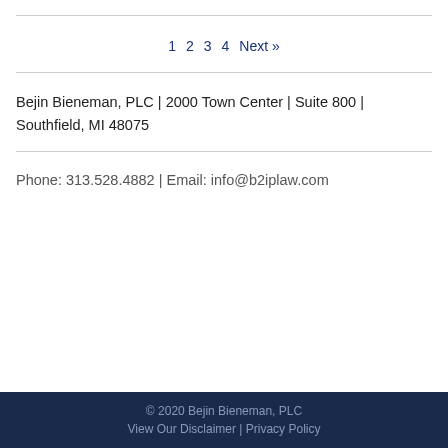1  2  3  4  Next »
Bejin Bieneman, PLC | 2000 Town Center | Suite 800 | Southfield, MI 48075
Phone: 313.528.4882 | Email: info@b2iplaw.com
© 2020 Bejin Bieneman, PLC
View Our Disclaimer | Privacy Policy